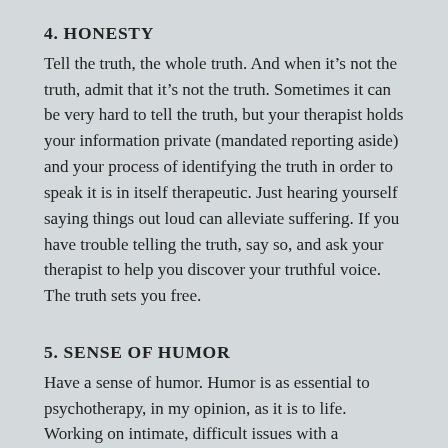4. HONESTY
Tell the truth, the whole truth. And when it’s not the truth, admit that it’s not the truth. Sometimes it can be very hard to tell the truth, but your therapist holds your information private (mandated reporting aside) and your process of identifying the truth in order to speak it is in itself therapeutic. Just hearing yourself saying things out loud can alleviate suffering. If you have trouble telling the truth, say so, and ask your therapist to help you discover your truthful voice. The truth sets you free.
5. SENSE OF HUMOR
Have a sense of humor. Humor is as essential to psychotherapy, in my opinion, as it is to life. Working on intimate, difficult issues with a